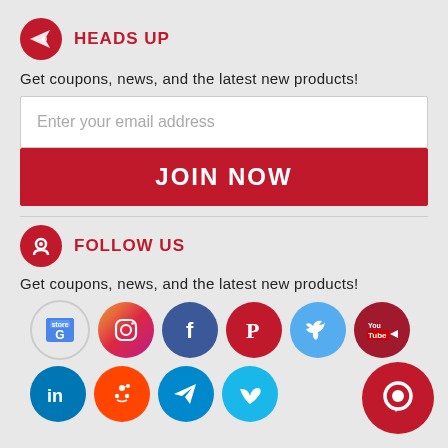HEADS UP
Get coupons, news, and the latest new products!
[Figure (infographic): Email signup form with text input field and JOIN NOW button]
FOLLOW US
Get coupons, news, and the latest new products!
[Figure (infographic): Social media icons: Google, Instagram, Facebook, Pinterest, Twitter, YouTube, LinkedIn, Reddit, Telegram, Vimeo, and a chat bubble icon]